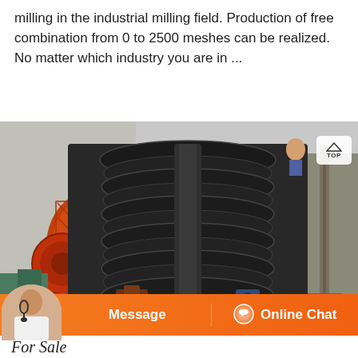milling in the industrial milling field. Production of free combination from 0 to 2500 meshes can be realized. No matter which industry you are in ...
[Figure (photo): Industrial milling/screw conveyor equipment in a factory setting. A large black screw conveyor (auger) is prominently shown at an angle with multiple spiral discs. An orange/red cylindrical ball mill is visible in the background left. Orange metal frame structure at bottom. Workers and factory interior visible.]
Message
Online Chat
For Sale